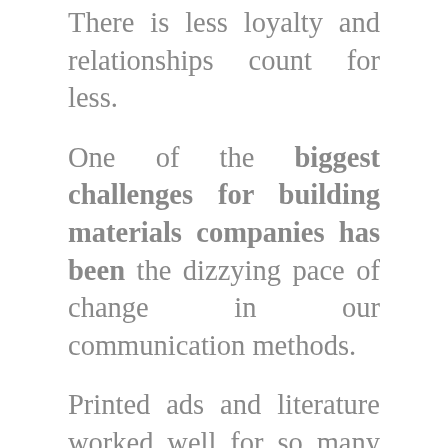There is less loyalty and relationships count for less.
One of the biggest challenges for building materials companies has been the dizzying pace of change in our communication methods.
Printed ads and literature worked well for so many years. They gave a real advantage to the larger companies that could afford to spend more on them.
Then came the great equalizer: the internet. Websites, content marketing, emails, marketing automation, CRMs, social media and